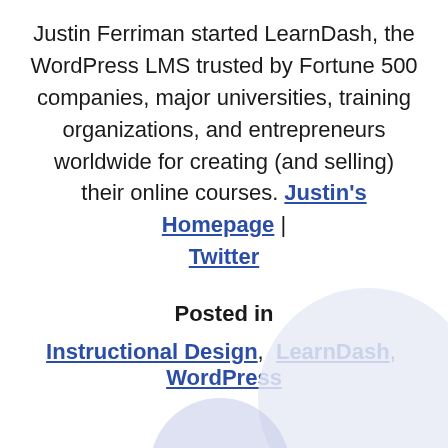Justin Ferriman started LearnDash, the WordPress LMS trusted by Fortune 500 companies, major universities, training organizations, and entrepreneurs worldwide for creating (and selling) their online courses. Justin's Homepage | Twitter
Posted in
Instructional Design, LearnDash, WordPress